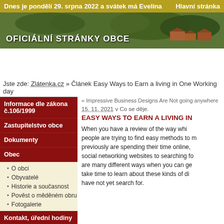Dnes je pondělí 29. srpna 2022 a svátek má Evelina    Hlavní stránka
[Figure (photo): Aerial photo banner of a Czech village with green trees and red-roofed houses. Text overlay: OFICIÁLNÍ STRÁNKY OBCE]
Jste zde: Zlátenka.cz » Článek Easy Ways to Earn a living in One Working day
Informace dle zákona č.106/1999
Zastupitelstvo obce
Dokumenty
Obec
O obci
Obyvatelé
Historie a současnost
Pověst o měděném obru
Fotogalerie
Kontakt, úřední hodiny
Úřední deska
« Impressive Business Designs Are Not going anywhere
15. 11. 2021 v Co se děje.
EASY WAYS TO EARN A LIVING IN ONE WORKING DAY
When you have a review of the way which people are trying to find easy methods to make money previously are spending their time online, from social networking websites to searching for there are many different ways when you can get started. take time to learn about these kinds of different have not yet search for.